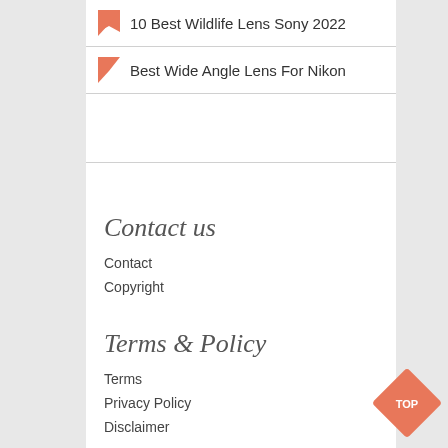10 Best Wildlife Lens Sony 2022
Best Wide Angle Lens For Nikon
Contact us
Contact
Copyright
Terms & Policy
Terms
Privacy Policy
Disclaimer